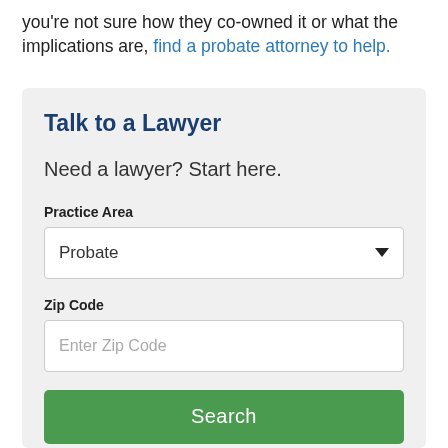you're not sure how they co-owned it or what the implications are, find a probate attorney to help.
Talk to a Lawyer
Need a lawyer? Start here.
Practice Area
Probate
Zip Code
Enter Zip Code
Search